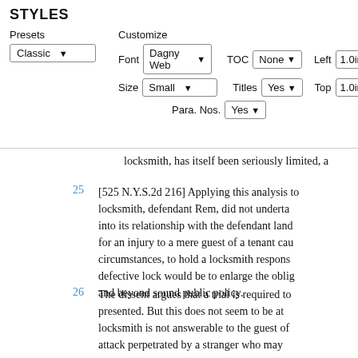STYLES
Presets   Customize   Font: Dagny Web   TOC: None   Left: 1.0in   Size: Small   Titles: Yes   Top: 1.0in   Para. Nos.: Yes   Classic (dropdown)
locksmith, has itself been seriously limited, a
25  [525 N.Y.S.2d 216] Applying this analysis to the locksmith, defendant Rem, did not undertake into its relationship with the defendant land for an injury to a mere guest of a tenant caused by circumstances, to hold a locksmith responsible for a defective lock would be to enlarge the obligation and beyond sound public policy.
26  The dissent argues that a trial is required to presented. But this does not seem to be at the locksmith is not answerable to the guest of attack perpetrated by a stranger who may